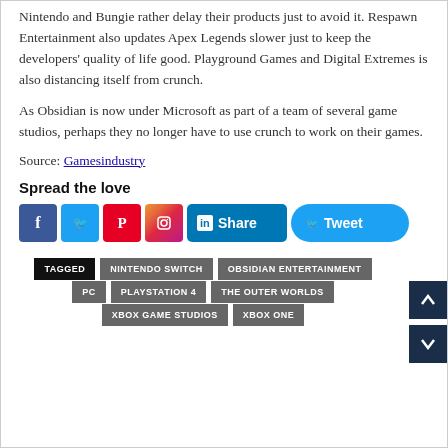Nintendo and Bungie rather delay their products just to avoid it. Respawn Entertainment also updates Apex Legends slower just to keep the developers' quality of life good. Playground Games and Digital Extremes is also distancing itself from crunch.
As Obsidian is now under Microsoft as part of a team of several game studios, perhaps they no longer have to use crunch to work on their games.
Source: Gamesindustry
Spread the love
[Figure (other): Social media sharing icons: Facebook, Twitter, Pinterest, Instagram, LinkedIn Share button, Twitter Tweet button]
TAGGED
NINTENDO SWITCH
OBSIDIAN ENTERTAINMENT
PC
PLAYSTATION 4
THE OUTER WORLDS
XBOX GAME STUDIOS
XBOX ONE